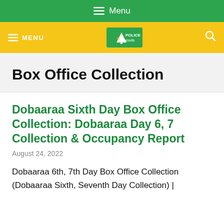≡ Menu
≡ MENU  [Police Results Logo]  🔍
Box Office Collection
Dobaaraa Sixth Day Box Office Collection: Dobaaraa Day 6, 7 Collection & Occupancy Report
August 24, 2022
Dobaaraa 6th, 7th Day Box Office Collection (Dobaaraa Sixth, Seventh Day Collection) |